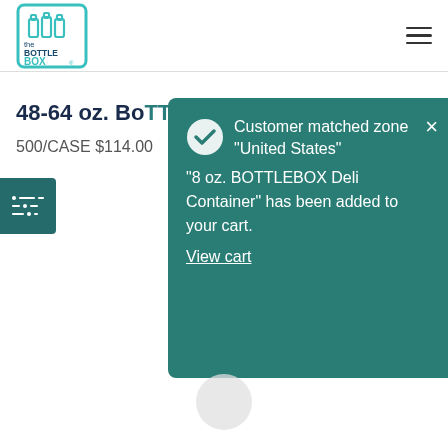[Figure (logo): The Bottle Box logo — line art of three bottles inside a rounded square with teal border, text 'the BOTTLE BOX']
48-64 oz. BOTTLEBOX Deli Flat Lid
500/CASE $114.00
[Figure (infographic): Teal notification popup: checkmark circle icon, text 'Customer matched zone "United States" "8 oz. BOTTLEBOX Deli Container" has been added to your cart.' with 'View cart' underlined link and X close button]
[Figure (other): Light gray circle scroll/loading indicator at bottom center]